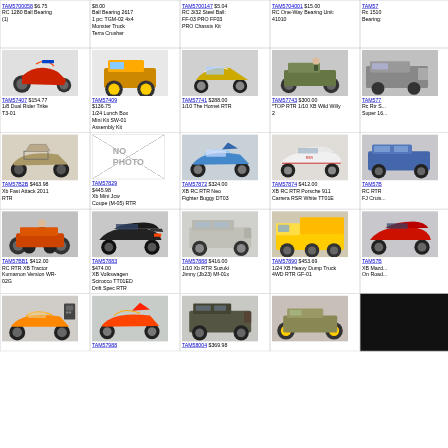| TAM5700058 $6.75 RC 1280 Ball Bearing (1) | $8.00 Ball Bearing 2617 1 pc: TGM-02 4x4 Monster Truck Terra Crusher | TAM5700147 $5.04 RC 3/32 Steel Ball: FF-03 PRO FF03 PRO Chassis Kit | TAM5704001 $15.00 RC One-Way Bearing Unit: 41010 | TAM57... $... Rc 1510 Bearing:... |
| TAM57407 $154.77 1/8 Dual Rider Trike T3-01 | TAM57409 $136.75 1/24 Lunch Box Mini Kit SW-01 Assembly Kit | TAM57741 $288.00 1/10 The Hornet RTR | TAM57743 $300.00 *TOP RTR 1/10 XB Wild Willy 2 | TAM577... Rc Rtr S... Super 16... |
| TAM57B2B $463.98 Xb Fast Attack 2011 RTR | TAM57829 $445.98 Xb Mini Jcw Coupe (M-05) RTR | TAM57872 $324.00 XB RC RTR Neo Fighter Buggy DT03 | TAM57874 $412.00 XB RC RTR Porsche 911 Carrera RSR White TT01E | TAM57B... RC RTR FJ Cruis... |
| TAM57BB1 $412.00 RC RTR XB Tractor Kumamon Version WR-02G | TAM57883 $474.00 XB Volkswagen Scirocco TT01ED Drift Spec RTR | TAM57888 $416.00 1/10 Xb RTR Suzuki Jimny (Jb23) Mf-01x | TAM57890 $453.69 1/24 XB Heavy Dump Truck 4WD RTR GF-01 | TAM57B... XB Mazd... On Road... |
| [image] | TAM57988 | TAM58004 $369.98 | [image] | [partial] |